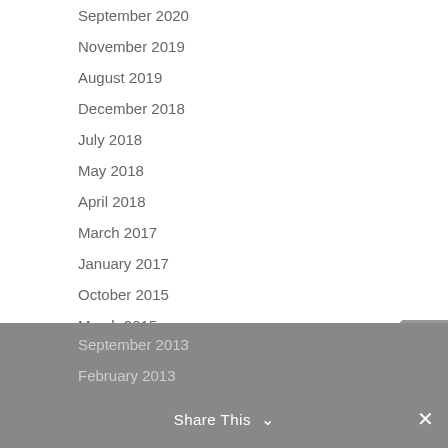September 2020
November 2019
August 2019
December 2018
July 2018
May 2018
April 2018
March 2017
January 2017
October 2015
March 2015
December 2014
November 2013
September 2013
February 2013
Share This